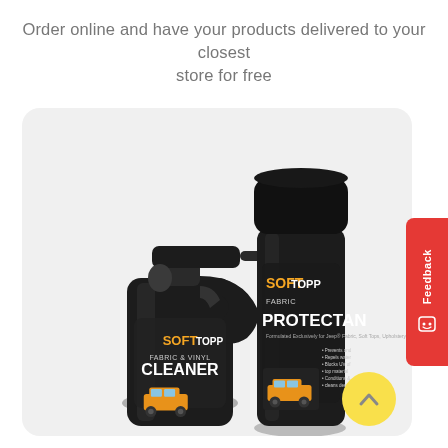Order online and have your products delivered to your closest store for free
[Figure (photo): Two SoftTopp automotive cleaning products on a light grey rounded-corner card background. Left: a black spray bottle labeled 'SOFT TOPP Fabric & Vinyl CLEANER' with an image of a yellow Jeep. Right: a black aerosol can labeled 'SOFT TOPP Fabric PROTECTANT' also with a yellow Jeep image. A yellow scroll-to-top circle with a chevron is visible at bottom right. A red Feedback tab is on the far right edge.]